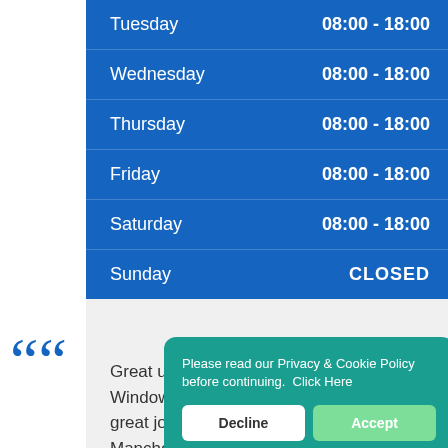| Day | Hours |
| --- | --- |
| Tuesday | 08:00 - 18:00 |
| Wednesday | 08:00 - 18:00 |
| Thursday | 08:00 - 18:00 |
| Friday | 08:00 - 18:00 |
| Saturday | 08:00 - 18:00 |
| Sunday | CLOSED |
Great uPVC windows from uPVC Windows Ma... great job. It h... Manchester w... uPVC windows and doors.
Please read our Privacy & Cookie Policy before continuing.  Click Here